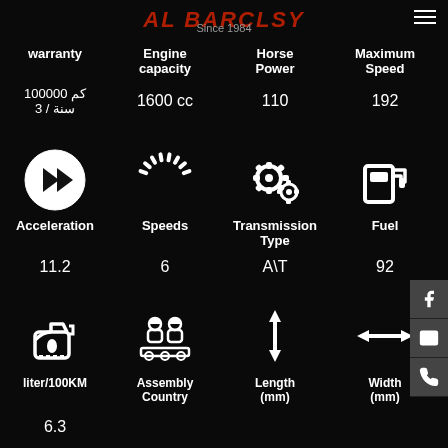AL BARCLSY - Since 1984
warranty | Engine capacity | Horse Power | Maximum Speed
100000 كم / 3 سنة | 1600 cc | 110 | 192
[Figure (infographic): Icons for Acceleration, Speeds, Transmission Type, Fuel]
Acceleration: 11.2 | Speeds: 6 | Transmission Type: A\T | Fuel: 92
[Figure (infographic): Icons for liter/100KM, Assembly Country, Length (mm), Width (mm)]
liter/100KM: 6.3 | Assembly Country | Length (mm) | Width (mm)